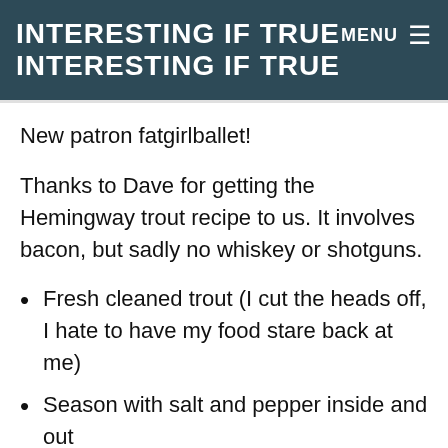INTERESTING IF TRUE
INTERESTING IF TRUE
New patron fatgirlballet!
Thanks to Dave for getting the Hemingway trout recipe to us. It involves bacon, but sadly no whiskey or shotguns.
Fresh cleaned trout (I cut the heads off, I hate to have my food stare back at me)
Season with salt and pepper inside and out
Roll the outside in cornmeal
Wrap the seasoned and cornmealled trout